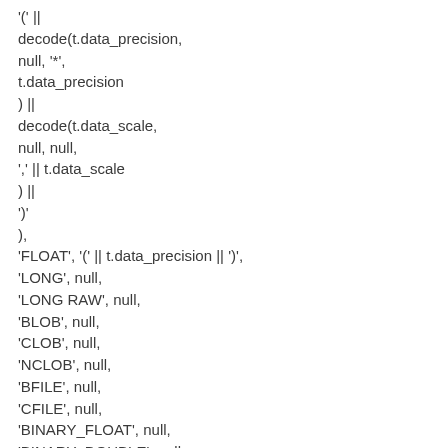'(' ||
decode(t.data_precision,
null, '*',
t.data_precision
) ||
decode(t.data_scale,
null, null,
',' || t.data_scale
) ||
')'
),
'FLOAT', '(' || t.data_precision || ')',
'LONG', null,
'LONG RAW', null,
'BLOB', null,
'CLOB', null,
'NCLOB', null,
'BFILE', null,
'CFILE', null,
'BINARY_FLOAT', null,
'BINARY_DOUBLE', null,
'MLSLABEL', null,